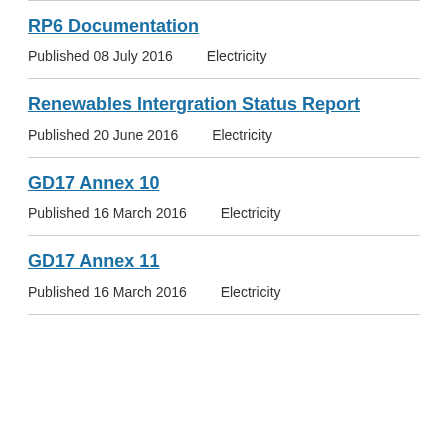RP6 Documentation
Published 08 July 2016    Electricity
Renewables Intergration Status Report
Published 20 June 2016    Electricity
GD17 Annex 10
Published 16 March 2016    Electricity
GD17 Annex 11
Published 16 March 2016    Electricity